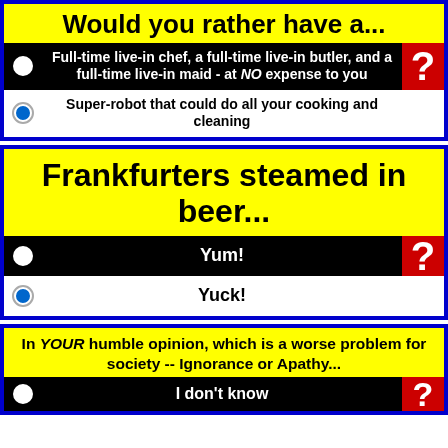Would you rather have a...
Full-time live-in chef, a full-time live-in butler, and a full-time live-in maid - at NO expense to you
Super-robot that could do all your cooking and cleaning
Frankfurters steamed in beer...
Yum!
Yuck!
In YOUR humble opinion, which is a worse problem for society -- Ignorance or Apathy...
I don't know